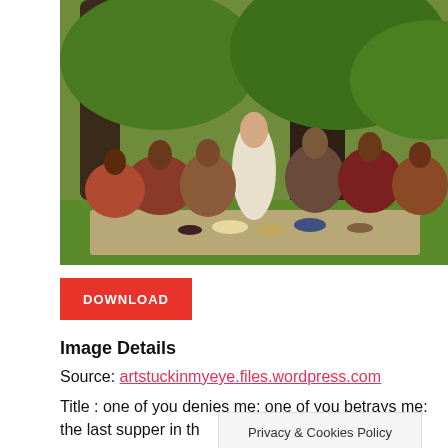[Figure (photo): A photo showing a group of people in biblical costume sitting outdoors on a blanket under a large tree, with a central figure in white robes surrounded by others in colorful garments, food items on the blanket in front of them.]
DOWNLOAD
Image Details
Source: artstuckinmyeye.files.wordpress.com
Title : one of you denies me; one of you betrays me: the last supper in th
Privacy & Cookies Policy